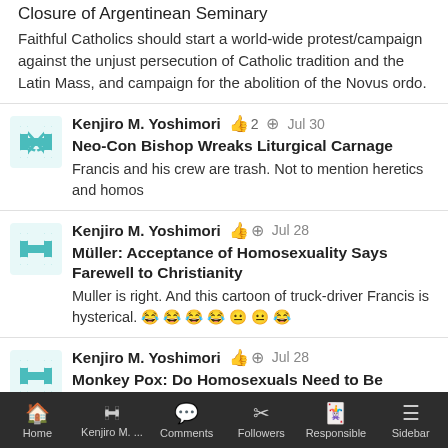Closure of Argentinean Seminary
Faithful Catholics should start a world-wide protest/campaign against the unjust persecution of Catholic tradition and the Latin Mass, and campaign for the abolition of the Novus ordo.
Kenjiro M. Yoshimori 👍 2 ➕ Jul 30
Neo-Con Bishop Wreaks Liturgical Carnage
Francis and his crew are trash. Not to mention heretics and homos
Kenjiro M. Yoshimori 👍 ➕ Jul 28
Müller: Acceptance of Homosexuality Says Farewell to Christianity
Muller is right. And this cartoon of truck-driver Francis is hysterical. 😂😂😂😂😐😐😂
Kenjiro M. Yoshimori 👍 ➕ Jul 28
Monkey Pox: Do Homosexuals Need to Be
Home | Kenjiro M. ... | Comments | Followers | Responsible | Sidebar